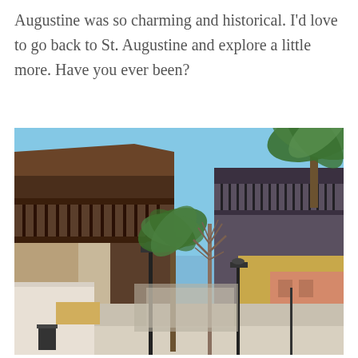Augustine was so charming and historical. I'd love to go back to St. Augustine and explore a little more. Have you ever been?
[Figure (photo): Street-level photograph of a historic district in St. Augustine, Florida. The scene shows a narrow pedestrian street flanked by two-story buildings with wooden balconies on both sides. Several palm trees and a bare deciduous tree are visible in the center. Street lamps line the walkway. The sky is clear and bright blue. Buildings include a yellow/pink stucco structure on the right side and darker buildings on the left. There is a small shop sign on the lower left.]